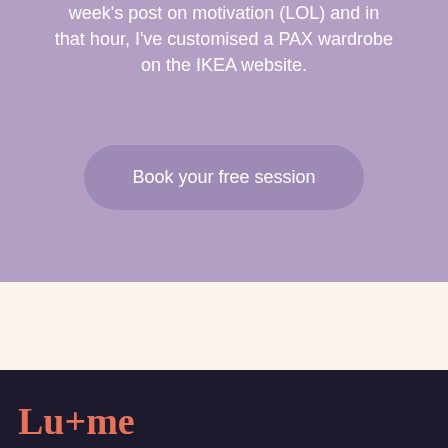week's post on motivation (LOL) and in that hour, I've customised a PAX wardrobe on the IKEA website.
Book your free session
Lu+me